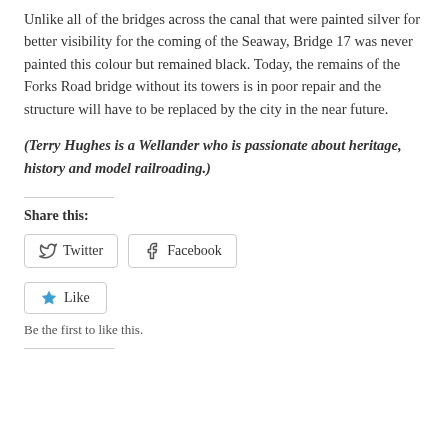Unlike all of the bridges across the canal that were painted silver for better visibility for the coming of the Seaway, Bridge 17 was never painted this colour but remained black. Today, the remains of the Forks Road bridge without its towers is in poor repair and the structure will have to be replaced by the city in the near future.
(Terry Hughes is a Wellander who is passionate about heritage, history and model railroading.)
Share this:
Twitter
Facebook
Like
Be the first to like this.